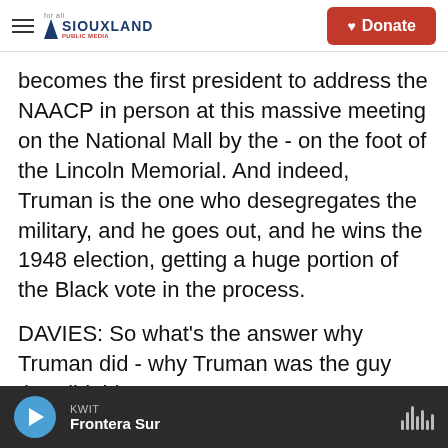Siouxland Public Media — Donate
becomes the first president to address the NAACP in person at this massive meeting on the National Mall by the - on the foot of the Lincoln Memorial. And indeed, Truman is the one who desegregates the military, and he goes out, and he wins the 1948 election, getting a huge portion of the Black vote in the process.
DAVIES: So what's the answer why Truman did - why Truman was the guy that did this?
BAIME: Was it a political move? - because, you know, it was a moving target at the time. And I
KWIT — Frontera Sur